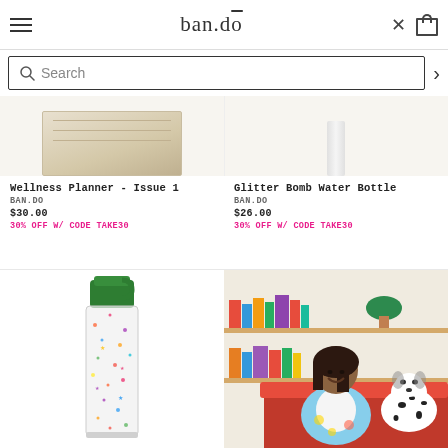ban.do navigation header with hamburger menu, logo, close and bag icons
Search
Wellness Planner - Issue 1
BAN.DO
$30.00
30% OFF W/ CODE TAKE30
Glitter Bomb Water Bottle
BAN.DO
$26.00
30% OFF W/ CODE TAKE30
[Figure (photo): Glitter Bomb Water Bottle with green cap, clear body with colorful glitter/confetti pattern]
[Figure (photo): Woman smiling sitting on red couch with dalmatian dog, wearing blue floral outfit, bookshelf in background]